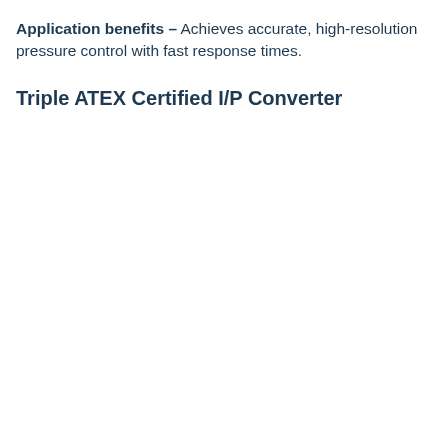Application benefits – Achieves accurate, high-resolution pressure control with fast response times.
Triple ATEX Certified I/P Converter